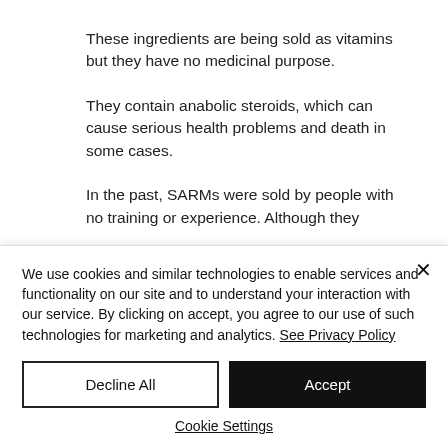These ingredients are being sold as vitamins but they have no medicinal purpose.
They contain anabolic steroids, which can cause serious health problems and death in some cases.
In the past, SARMs were sold by people with no training or experience. Although they
We use cookies and similar technologies to enable services and functionality on our site and to understand your interaction with our service. By clicking on accept, you agree to our use of such technologies for marketing and analytics. See Privacy Policy
Decline All
Accept
Cookie Settings